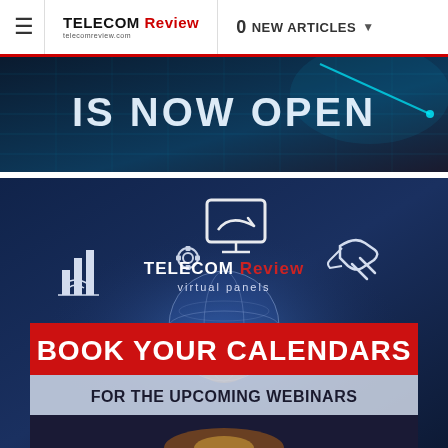≡  TELECOM Review  |  0 NEW ARTICLES ▾
[Figure (screenshot): Dark tech banner with text 'IS NOW OPEN' over a blue digital network background]
[Figure (screenshot): Telecom Review Virtual Panels promotional banner with text 'BOOK YOUR CALENDARS FOR THE UPCOMING WEBINARS' on dark blue background with globe and tech icons]